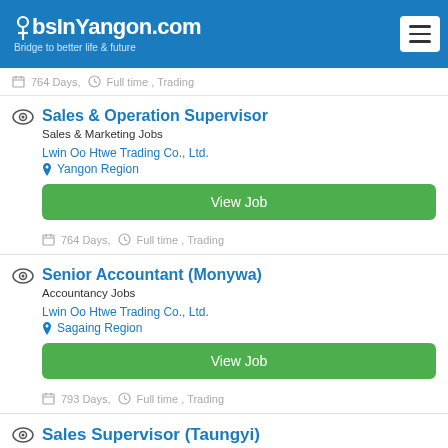JobsInYangon.com — Bridge to better life & future
764 Days, Full time , Trading
Sales & Operation Supervisor
Sales & Marketing Jobs
Lwin Oo Htwe Trading Co., Ltd.
Yangon Region
View Job
764 Days, Full time , Trading
Senior Accountant (Monywa)
Accountancy Jobs
Lwin Oo Htwe Trading Co., Ltd.
Sagaing Region
View Job
793 Days, Full time , Trading
Sales Supervisor (Taungyi)